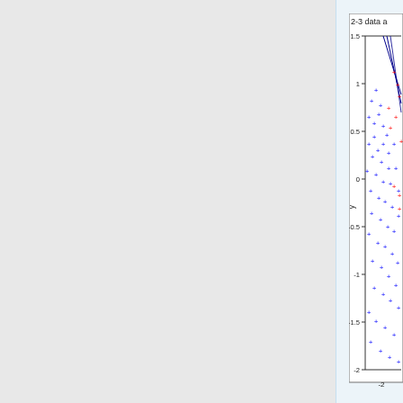[Figure (continuous-plot): Scatter plot showing 2-3 data points with blue cross markers (majority) and red cross markers (minority), with two nearly parallel dark blue lines in the upper right region. Y-axis ranges from -2 to 1.5, X-axis from -2 onward. Y-axis label is 'y'. The plot is partially cropped showing the left portion of the chart.]